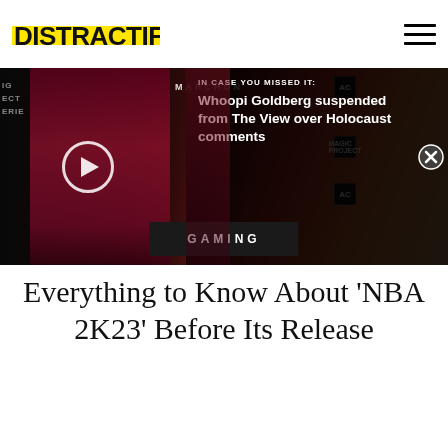DISTRACTIFY
[Figure (photo): Hero image showing a person in a dark red/magenta outfit at what appears to be an event with MARCHON branding in the background. A notification overlay covers the right portion showing text about Whoopi Goldberg being suspended from The View over Holocaust comments. A play button is visible on the image.]
IN CASE YOU MISSED IT: Whoopi Goldberg suspended from The View over Holocaust comments
GAMING
Everything to Know About 'NBA 2K23' Before Its Release